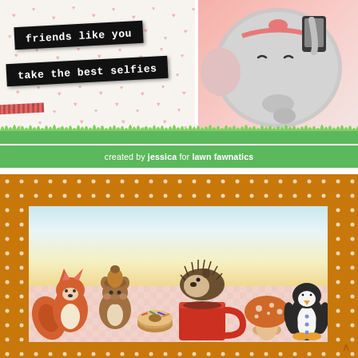[Figure (photo): Handmade greeting card with black banner strips reading 'friends like you' and 'take the best selfies' on a white heart-patterned background, with a cute elephant taking a selfie on the right side. Card has a pink gradient background around the elephant.]
created by jessica for lawn fawnatics
[Figure (photo): Handmade greeting card with orange polka-dot border, featuring cute illustrated animals (fox/squirrel, chipmunk with donut, hedgehog sitting in a red mug, mushroom, and penguin) on a light blue-to-yellow gradient background with a pink gingham table.]